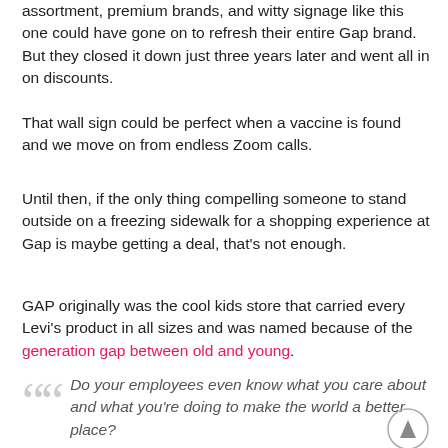assortment, premium brands, and witty signage like this one could have gone on to refresh their entire Gap brand. But they closed it down just three years later and went all in on discounts.
That wall sign could be perfect when a vaccine is found and we move on from endless Zoom calls.
Until then, if the only thing compelling someone to stand outside on a freezing sidewalk for a shopping experience at Gap is maybe getting a deal, that's not enough.
GAP originally was the cool kids store that carried every Levi's product in all sizes and was named because of the generation gap between old and young.
Do your employees even know what you care about and what you're doing to make the world a better place?